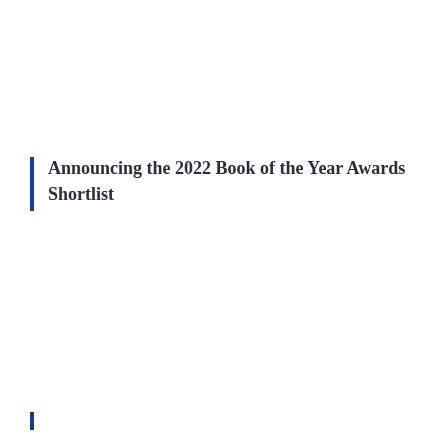Announcing the 2022 Book of the Year Awards Shortlist